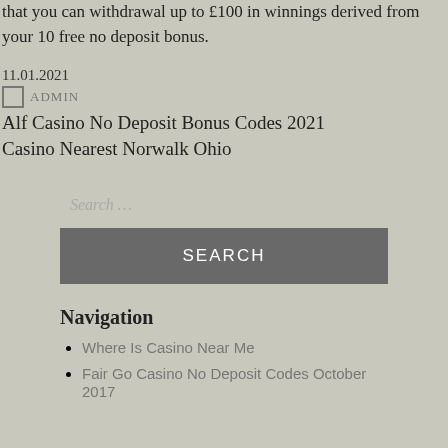that you can withdrawal up to £100 in winnings derived from your 10 free no deposit bonus.
11.01.2021
ADMIN
Alf Casino No Deposit Bonus Codes 2021
Casino Nearest Norwalk Ohio
Search …
SEARCH
Navigation
Where Is Casino Near Me
Fair Go Casino No Deposit Codes October 2017